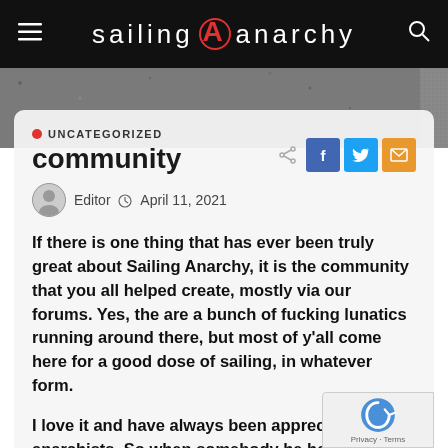sailing anarchy
UNCATEGORIZED
community
Editor  April 11, 2021
If there is one thing that has ever been truly great about Sailing Anarchy, it is the community that you all helped create, mostly via our forums. Yes, the are a bunch of fucking lunatics running around there, but most of y’all come here for a good dose of sailing, in whatever form.
I love it and have always been appreciat of you anarchists. So when somebody he has a problem, so many of you often try to